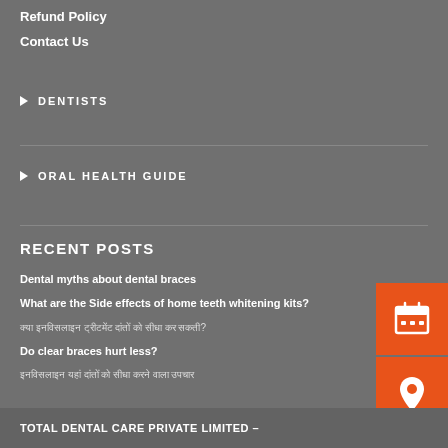Refund Policy
Contact Us
DENTISTS
ORAL HEALTH GUIDE
RECENT POSTS
Dental myths about dental braces
What are the Side effects of home teeth whitening kits?
क्या इनविसलाइन ट्रीटमेंट दांतों को सीधा कर सकती?
Do clear braces hurt less?
इनविसलाइन यहां दांतों को सीधा करने वाला उपचार
[Figure (infographic): Three orange icon boxes: calendar icon, location pin icon, Indian rupee coin icon]
TOTAL DENTAL CARE PRIVATE LIMITED –